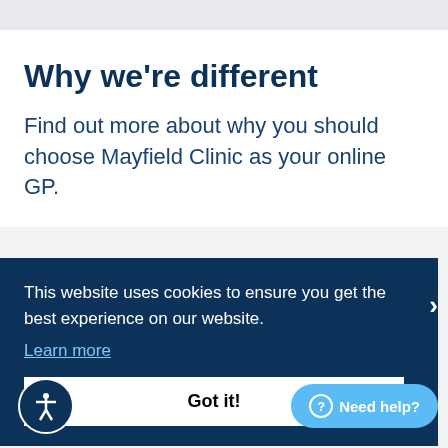Why we're different
Find out more about why you should choose Mayfield Clinic as your online GP.
This website uses cookies to ensure you get the best experience on our website.
Learn more
Got it!
Need help?